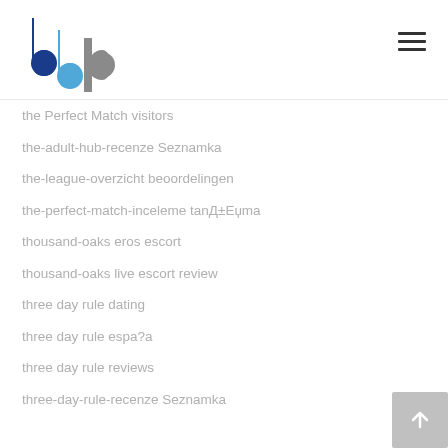BBP Corporation logo and navigation
the Perfect Match visitors
the-adult-hub-recenze Seznamka
the-league-overzicht beoordelingen
the-perfect-match-inceleme tanД±Еџma
thousand-oaks eros escort
thousand-oaks live escort review
three day rule dating
three day rule espa?a
three day rule reviews
three-day-rule-recenze Seznamka